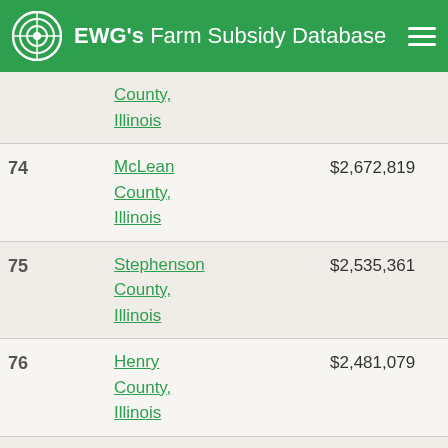EWG's Farm Subsidy Database
| Rank | Location | Amount | Pct |
| --- | --- | --- | --- |
|  | County, Illinois |  |  |
| 74 | McLean County, Illinois | $2,672,819 | 0.3% |
| 75 | Stephenson County, Illinois | $2,535,361 | 0.3% |
| 76 | Henry County, Illinois | $2,481,079 | 0.3% |
| 77 | Logan County, | $2,253,166 | 0.2% |